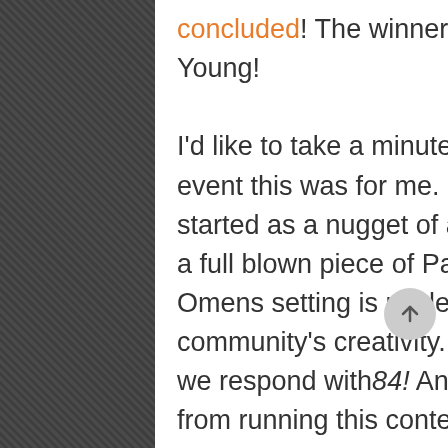concluded! The winner? The Path of the Heavens by Conor Young!

I'd like to take a minute to discuss how incredible of an event this was for me. I'm so honored to know that what started as a nugget of an idea back in January evolved into a full blown piece of Pathfinder canon. My love of the Lost Omens setting is rivaled only by my respect for our community's creativity. When Paizo gives us 3 pantheons we respond with84! And if there's anything I've learned from running this contest that I'd love to leave the community with it's this: Create and share! This isn't the